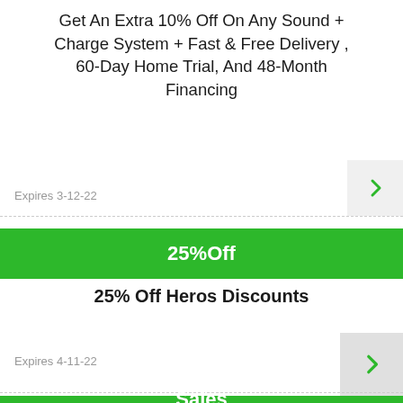Get An Extra 10% Off On Any Sound + Charge System + Fast & Free Delivery , 60-Day Home Trial, And 48-Month Financing
Expires 3-12-22
25%Off
25% Off Heros Discounts
Expires 4-11-22
Sales